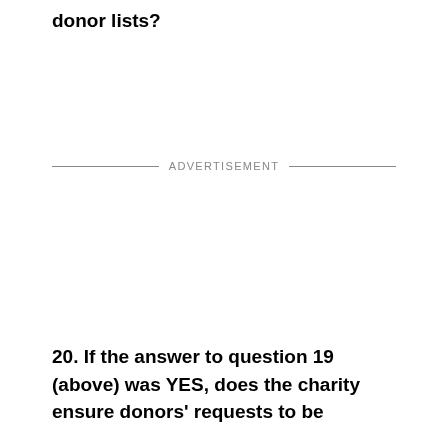donor lists?
ADVERTISEMENT
20. If the answer to question 19 (above) was YES, does the charity ensure donors' requests to be